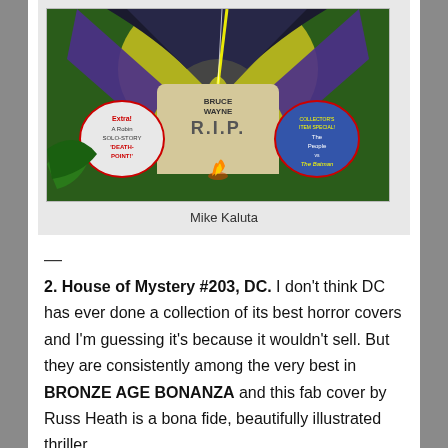[Figure (illustration): Comic book cover showing Batman-related imagery with 'Bruce Wayne R.I.P.' on a tombstone, Batman silhouette, Robin story callout, and Collector's Item Special banner]
Mike Kaluta
—
2. House of Mystery #203, DC. I don't think DC has ever done a collection of its best horror covers and I'm guessing it's because it wouldn't sell. But they are consistently among the very best in BRONZE AGE BONANZA and this fab cover by Russ Heath is a bona fide, beautifully illustrated thriller.